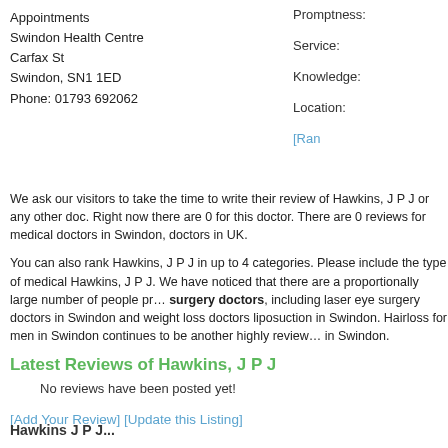Appointments
Swindon Health Centre
Carfax St
Swindon, SN1 1ED
Phone: 01793 692062
Promptness:
Service:
Knowledge:
Location:
[Ran
We ask our visitors to take the time to write their review of Hawkins, J P J or any other doc. Right now there are 0 for this doctor. There are 0 reviews for medical doctors in Swindon, doctors in UK.
You can also rank Hawkins, J P J in up to 4 categories. Please include the type of medical Hawkins, J P J. We have noticed that there are a proportionally large number of people pro surgery doctors, including laser eye surgery doctors in Swindon and weight loss doctors liposuction in Swindon. Hairloss for men in Swindon continues to be another highly review in Swindon.
Latest Reviews of Hawkins, J P J
No reviews have been posted yet!
[Add Your Review] [Update this Listing]
Hawkins J P J...